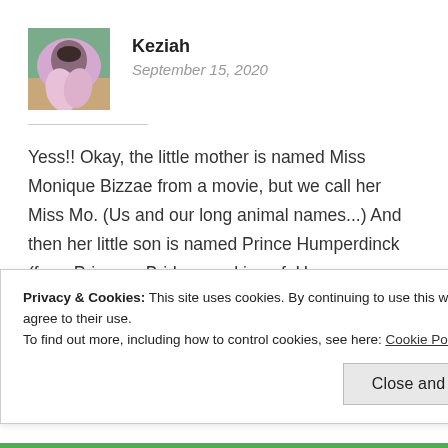[Figure (photo): Avatar photo of Keziah - a woman in a pink dress in an outdoor setting]
Keziah
September 15, 2020
Yess!! Okay, the little mother is named Miss Monique Bizzae from a movie, but we call her Miss Mo. (Us and our long animal names...) And then her little son is named Prince Humperdinck (from Princess Bride. speaking of. Have you watched/read that??), but the
Privacy & Cookies: This site uses cookies. By continuing to use this website, you agree to their use.
To find out more, including how to control cookies, see here: Cookie Policy
Close and accept